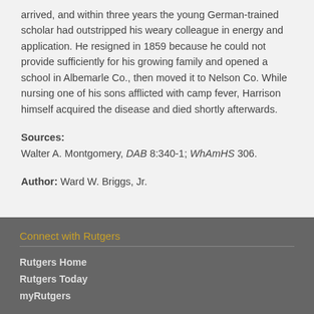arrived, and within three years the young German-trained scholar had outstripped his weary colleague in energy and application. He resigned in 1859 because he could not provide sufficiently for his growing family and opened a school in Albemarle Co., then moved it to Nelson Co. While nursing one of his sons afflicted with camp fever, Harrison himself acquired the disease and died shortly afterwards.
Sources: Walter A. Montgomery, DAB 8:340-1; WhAmHS 306.
Author: Ward W. Briggs, Jr.
Connect with Rutgers
Rutgers Home
Rutgers Today
myRutgers